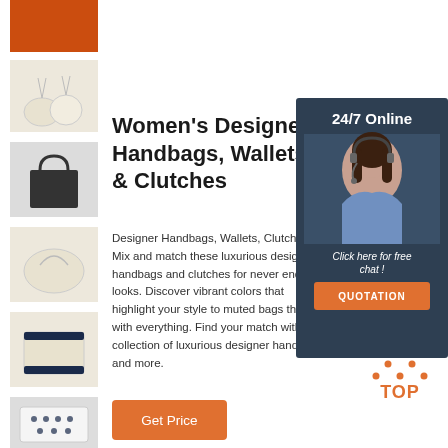[Figure (photo): Orange fabric swatch thumbnail]
[Figure (photo): Cream/beige drawstring bags thumbnail]
[Figure (photo): Black canvas tote bag thumbnail]
[Figure (photo): Cream/beige pouch thumbnail]
[Figure (photo): Navy-trimmed cream pouch thumbnail]
[Figure (photo): Polka dot fabric bag thumbnail]
Women's Designer Handbags, Wallets & Clutches
Designer Handbags, Wallets, Clutches. Mix and match these luxurious designer handbags and clutches for never ending looks. Discover vibrant colors that highlight your style to muted bags that go with everything. Find your match with our collection of luxurious designer handbags and more.
[Figure (screenshot): 24/7 Online customer service overlay panel with agent photo, 'Click here for free chat!' text and QUOTATION button]
[Figure (logo): TOP badge with orange dotted triangle above text]
Get Price